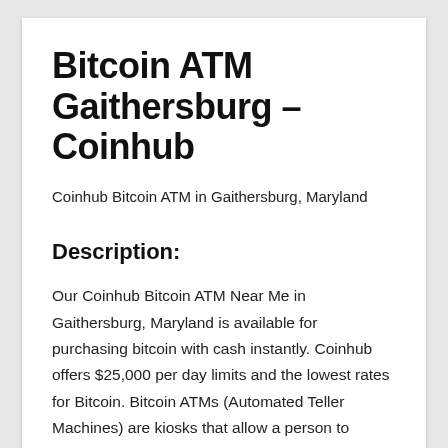Bitcoin ATM Gaithersburg – Coinhub
Coinhub Bitcoin ATM in Gaithersburg, Maryland
Description:
Our Coinhub Bitcoin ATM Near Me in Gaithersburg, Maryland is available for purchasing bitcoin with cash instantly. Coinhub offers $25,000 per day limits and the lowest rates for Bitcoin. Bitcoin ATMs (Automated Teller Machines) are kiosks that allow a person to purchase Bitcoin and other cryptocurrencies by using cash. Bitcoin cash kiosks from Coinhub are a convenient and fast way to purchase Bitcoin and receive it in minutes directly into your wallet. Coinhub